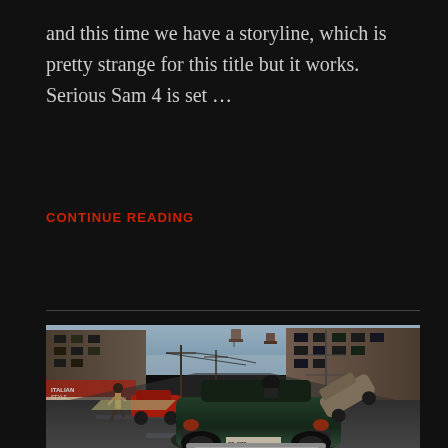and this time we have a storyline, which is pretty strange for this title but it works. Serious Sam 4 is set …
CONTINUE READING
[Figure (photo): A vintage 1940s-style street scene, likely from the game Mafia III or similar, showing a dark green classic car viewed from behind on a wet city street, with red vintage cars, period buildings, storefronts with signs, utility poles, water towers, and a person running on the left sidewalk.]